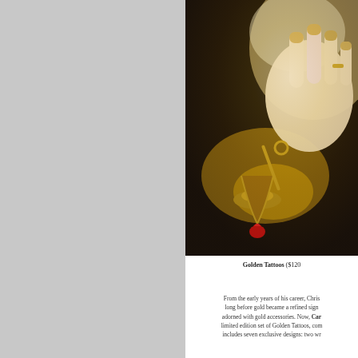[Figure (photo): A close-up photo of a woman's hand with gold nails and a thin gold ring, holding or resting near gold decorative objects including what appears to be a red heart charm, on a dark background with dramatic lighting.]
Golden Tattoos ($120
From the early years of his career, Chris long before gold became a refined sign adorned with gold accessories. Now, Car limited edition set of Golden Tattoos, com includes seven exclusive designs: two wr